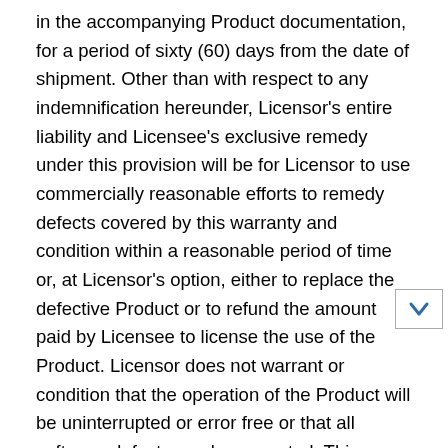in the accompanying Product documentation, for a period of sixty (60) days from the date of shipment. Other than with respect to any indemnification hereunder, Licensor's entire liability and Licensee's exclusive remedy under this provision will be for Licensor to use commercially reasonable efforts to remedy defects covered by this warranty and condition within a reasonable period of time or, at Licensor's option, either to replace the defective Product or to refund the amount paid by Licensee to license the use of the Product. Licensor does not warrant or condition that the operation of the Product will be uninterrupted or error free or that all software defects can be corrected. This warranty and condition shall not apply if (a) the Product is not used in accordance with applicable documentation; (b) Product defect has been caused by Licensee's malfunctioning equipment; or (c) Licensee has made modifications to the Product not expressly authorized in writing by Licensor. No employee, agent, or representative of Licensor has the authority to bind Licensor to any oral representations,